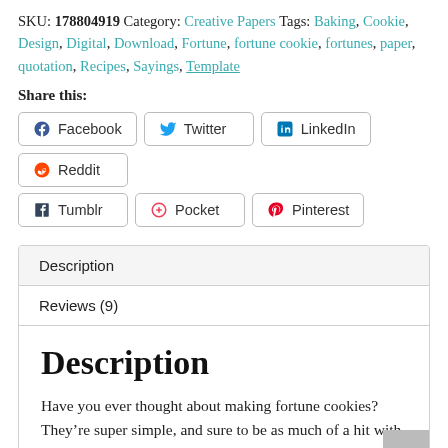SKU: 178804919 Category: Creative Papers Tags: Baking, Cookie, Design, Digital, Download, Fortune, fortune cookie, fortunes, paper, quotation, Recipes, Sayings, Template
Share this:
Facebook | Twitter | LinkedIn | Reddit | Tumblr | Pocket | Pinterest
Description
Reviews (9)
Description
Have you ever thought about making fortune cookies? They’re super simple, and sure to be as much of a hit with your kiddos (or your